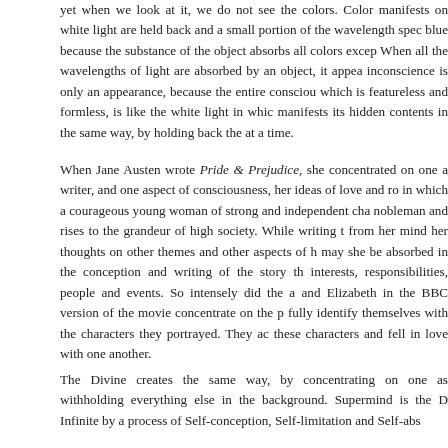yet when we look at it, we do not see the colors. Color manifests on… white light are held back and a small portion of the wavelength spec… blue because the substance of the object absorbs all colors excep… When all the wavelengths of light are absorbed by an object, it appea… inconscience is only an appearance, because the entire consciou… which is featureless and formless, is like the white light in whic… manifests its hidden contents in the same way, by holding back the… at a time.
When Jane Austen wrote Pride & Prejudice, she concentrated on one… a writer, and one aspect of consciousness, her ideas of love and ro… in which a courageous young woman of strong and independent cha… nobleman and rises to the grandeur of high society. While writing t… from her mind her thoughts on other themes and other aspects of h… may she be absorbed in the conception and writing of the story th… interests, responsibilities, people and events. So intensely did the a… and Elizabeth in the BBC version of the movie concentrate on the p… fully identify themselves with the characters they portrayed. They ac… these characters and fell in love with one another.
The Divine creates the same way, by concentrating on one as… withholding everything else in the background. Supermind is the D… Infinite by a process of Self-conception, Self-limitation and Self-abs…